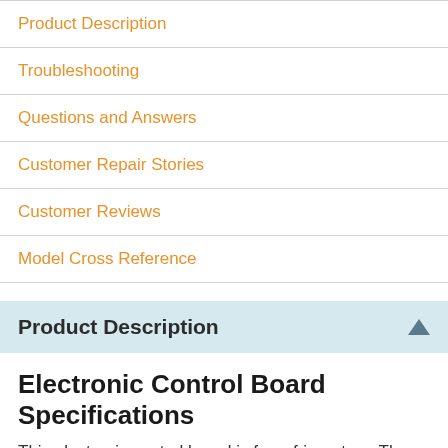Product Description
Troubleshooting
Questions and Answers
Customer Repair Stories
Customer Reviews
Model Cross Reference
Product Description
Electronic Control Board Specifications
This electronic control board is for refrigerators. The electronic control board manages the functions of the